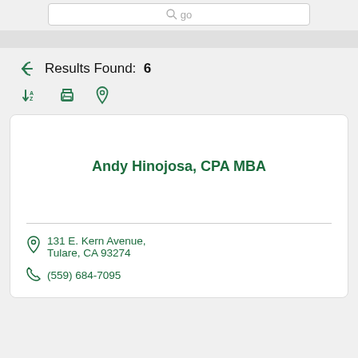[Figure (screenshot): Search box with magnifier icon and 'go' placeholder text]
Results Found:  6
[Figure (screenshot): Toolbar icons: sort A-Z, print, map pin]
Andy Hinojosa, CPA MBA
131 E. Kern Avenue, Tulare, CA 93274
(559) 684-7095